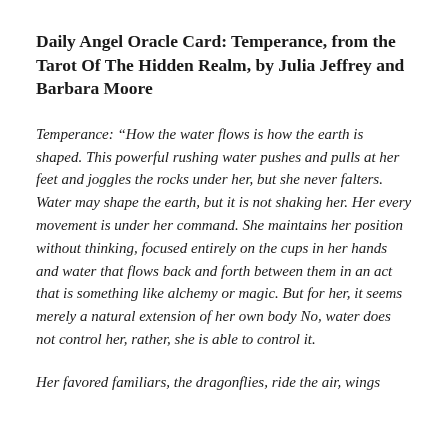Daily Angel Oracle Card: Temperance, from the Tarot Of The Hidden Realm, by Julia Jeffrey and Barbara Moore
Temperance: “How the water flows is how the earth is shaped. This powerful rushing water pushes and pulls at her feet and joggles the rocks under her, but she never falters. Water may shape the earth, but it is not shaking her. Her every movement is under her command. She maintains her position without thinking, focused entirely on the cups in her hands and water that flows back and forth between them in an act that is something like alchemy or magic. But for her, it seems merely a natural extension of her own body No, water does not control her, rather, she is able to control it.
Her favored familiars, the dragonflies, ride the air, wings